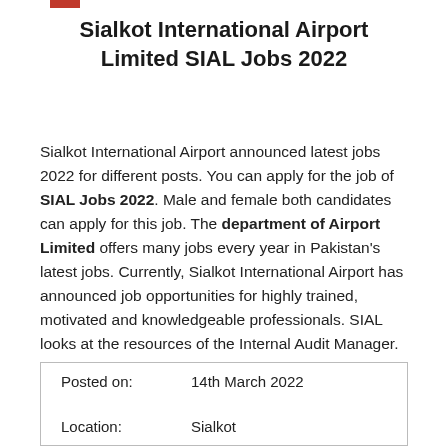Sialkot International Airport Limited SIAL Jobs 2022
Sialkot International Airport announced latest jobs 2022 for different posts. You can apply for the job of SIAL Jobs 2022. Male and female both candidates can apply for this job. The department of Airport Limited offers many jobs every year in Pakistan's latest jobs. Currently, Sialkot International Airport has announced job opportunities for highly trained, motivated and knowledgeable professionals. SIAL looks at the resources of the Internal Audit Manager.
| Posted on: | 14th March 2022 |
| Location: | Sialkot |